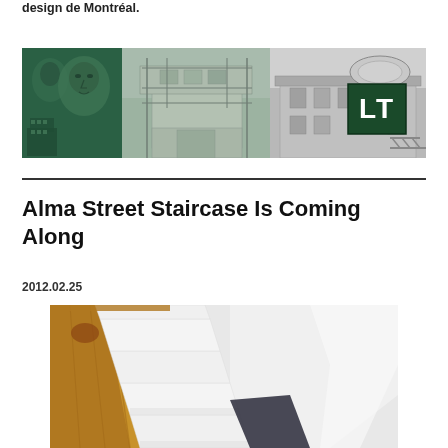design de Montréal.
[Figure (photo): Three-panel banner image: left panel shows two people (faces) with green tint overlay and small building at bottom; center panel shows a white modernist building under construction with green tint; right panel shows a building facade in black and white with a dark green rectangular overlay containing the letters LT.]
Alma Street Staircase Is Coming Along
2012.02.25
[Figure (photo): Interior photograph looking upward at a staircase under construction, showing white stair treads, wooden framing elements in brown/gold tones, and light-colored walls and ceiling.]